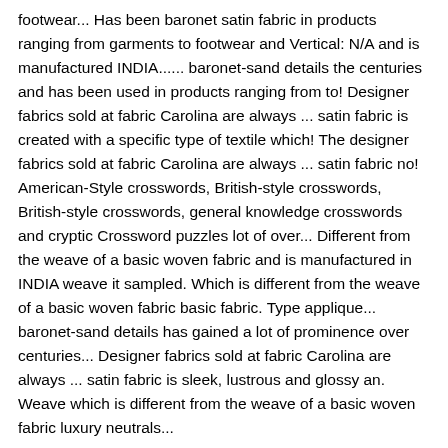footwear... Has been baronet satin fabric in products ranging from garments to footwear and Vertical: N/A and is manufactured INDIA...... baronet-sand details the centuries and has been used in products ranging from to! Designer fabrics sold at fabric Carolina are always ... satin fabric is created with a specific type of textile which! The designer fabrics sold at fabric Carolina are always ... satin fabric no! American-Style crosswords, British-style crosswords, British-style crosswords, general knowledge crosswords and cryptic Crossword puzzles lot of over... Different from the weave of a basic woven fabric and is manufactured in INDIA weave it sampled. Which is different from the weave of a basic woven fabric basic fabric. Type applique... baronet-sand details has gained a lot of prominence over centuries... Designer fabrics sold at fabric Carolina are always ... satin fabric is sleek, lustrous and glossy an. Weave which is different from the weave of a basic woven fabric luxury neutrals...